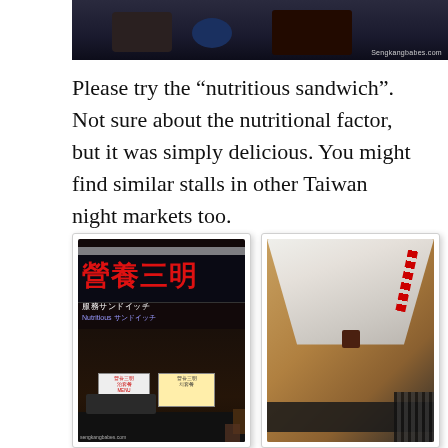[Figure (photo): Partial top photo showing a dark restaurant or night market scene with a watermark reading 'Sengkangbabes.com']
Please try the “nutritious sandwich”. Not sure about the nutritional factor, but it was simply delicious. You might find similar stalls in other Taiwan night markets too.
[Figure (photo): Left photo: night market food stall with Chinese characters 營養三明 on illuminated sign at night. Right photo: close-up of a nutritious sandwich food item wrapped in paper.]